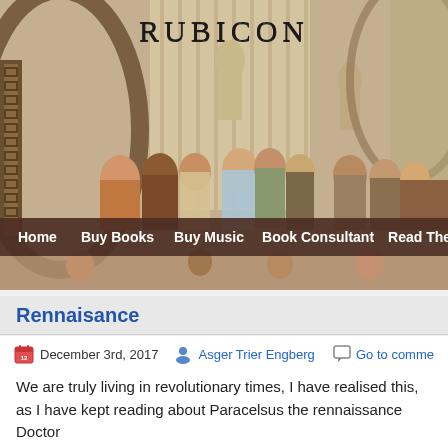[Figure (illustration): Header image showing Raphael's 'School of Athens' fresco painting with classical figures in an architectural setting, with the site title 'RUBICON' overlaid at the top center]
RUBICON
[Figure (other): Navigation bar with links: Home, Buy Books, Buy Music, Book Consultant, Read The Credo]
Rennaisance
December 3rd, 2017   Asger Trier Engberg   Go to comme
We are truly living in revolutionary times, I have realised this, as I have kept reading about Paracelsus the rennaissance Doctor